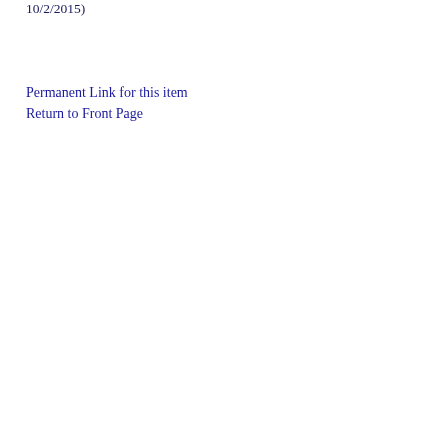10/2/2015)
Permanent Link for this item
Return to Front Page